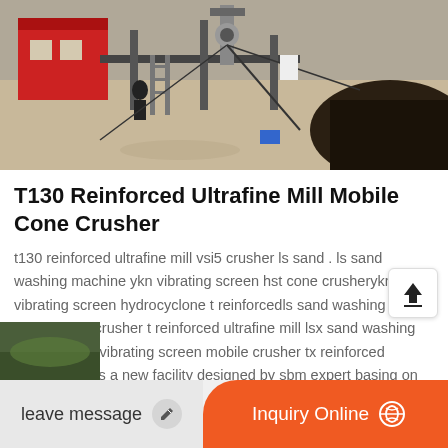[Figure (photo): Aerial view of industrial drilling or mining equipment setup with a red building, metal scaffolding, ladders, cables, and dark earth mound]
T130 Reinforced Ultrafine Mill Mobile Cone Crusher
t130 reinforced ultrafine mill vsi5 crusher ls sand . ls sand washing machine ykn vibrating screen hst cone crusherykn vibrating screen hydrocyclone t reinforcedls sand washing machine vsi crusher t reinforced ultrafine mill lsx sand washing machine ykn vibrating screen mobile crusher tx reinforced ultrafine mill is a new facility designed by sbm expert basing on chat with sales tx reinforced
[Figure (photo): Partial photo visible at bottom left corner]